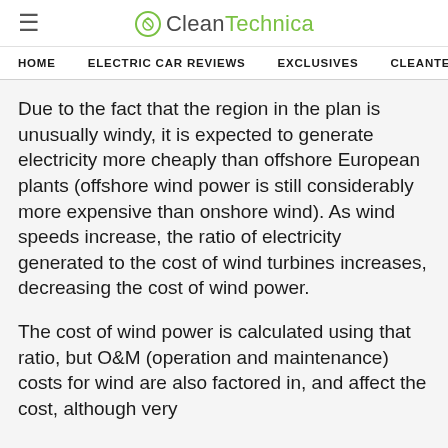CleanTechnica
HOME  ELECTRIC CAR REVIEWS  EXCLUSIVES  CLEANTECHN
Due to the fact that the region in the plan is unusually windy, it is expected to generate electricity more cheaply than offshore European plants (offshore wind power is still considerably more expensive than onshore wind). As wind speeds increase, the ratio of electricity generated to the cost of wind turbines increases, decreasing the cost of wind power.
The cost of wind power is calculated using that ratio, but O&M (operation and maintenance) costs for wind are also factored in, and affect the cost, although very